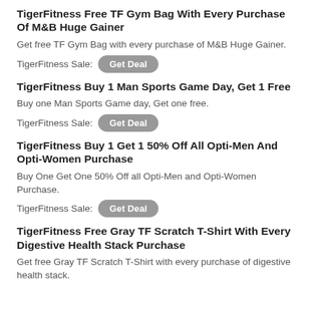TigerFitness Free TF Gym Bag With Every Purchase Of M&B Huge Gainer
Get free TF Gym Bag with every purchase of M&B Huge Gainer.
TigerFitness Sale: Get Deal
TigerFitness Buy 1 Man Sports Game Day, Get 1 Free
Buy one Man Sports Game day, Get one free.
TigerFitness Sale: Get Deal
TigerFitness Buy 1 Get 1 50% Off All Opti-Men And Opti-Women Purchase
Buy One Get One 50% Off all Opti-Men and Opti-Women Purchase.
TigerFitness Sale: Get Deal
TigerFitness Free Gray TF Scratch T-Shirt With Every Digestive Health Stack Purchase
Get free Gray TF Scratch T-Shirt with every purchase of digestive health stack.